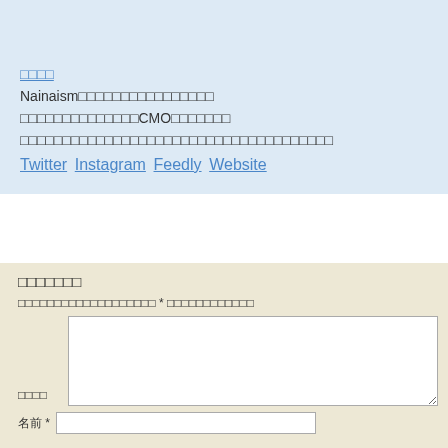[Figure (photo): Profile photo thumbnail, person in dark clothing]
□□□□ (linked name)
Nainaism□□□□□□□□□□□□□□□□
□□□□□□□□□□□□□□CMO□□□□□□□
□□□□□□□□□□□□□□□□□□□□□□□□□□□□□□□□□□□□□
Twitter Instagram Feedly Website
□□□□□□□
□□□□□□□□□□□□□□□□□□□ * □□□□□□□□□□□□
□□□□ (comment label)
名前 *